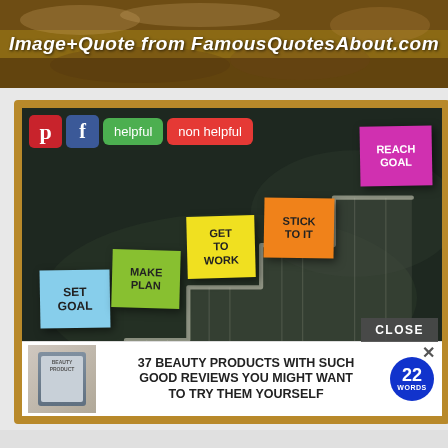[Figure (photo): Top banner with sandy/ocean texture background and text 'Image+Quote from FamousQuotesAbout.com' in white italic bold font]
[Figure (photo): Chalkboard motivational image with sticky notes on ascending steps labeled: SET GOAL (blue), MAKE PLAN (green), GET TO WORK (yellow), STICK TO IT (orange), REACH GOAL (pink). Social buttons (Pinterest, Facebook, helpful, non helpful) overlay the top. An advertisement banner overlays the bottom reading '37 BEAUTY PRODUCTS WITH SUCH GOOD REVIEWS YOU MIGHT WANT TO TRY THEM YOURSELF' with a CLOSE button.]